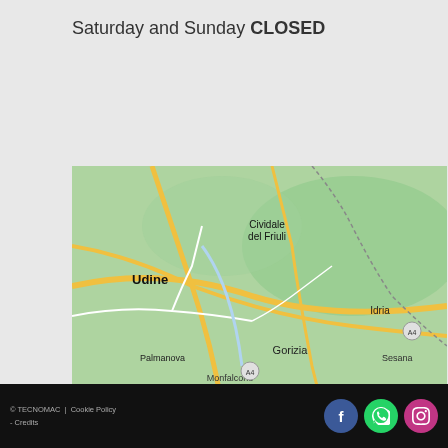Saturday and Sunday CLOSED
[Figure (map): Map showing northeastern Italy region including Udine, Cividale del Friuli, Gorizia, Palmanova, Monfalcone, Aquileia, Idria, Sesana area]
Cookies help us offering you quality services during your navigation. This site uses also third-party cookies. For more information or to refuse them, visit our Cookie Policy. Continued use of this site indicates that you accept this policy
I AGREE
More information
© TECNOMAC... Cookie Policy - Credits